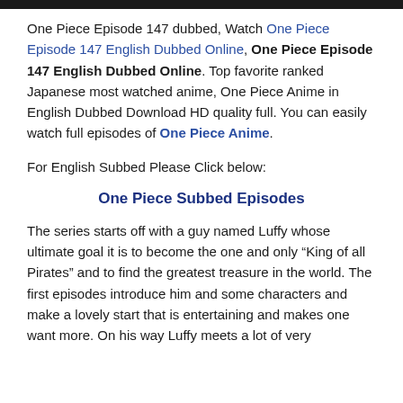[Figure (other): Black horizontal bar at top of page]
One Piece Episode 147 dubbed, Watch One Piece Episode 147 English Dubbed Online, One Piece Episode 147 English Dubbed Online. Top favorite ranked Japanese most watched anime, One Piece Anime in English Dubbed Download HD quality full. You can easily watch full episodes of One Piece Anime.
For English Subbed Please Click below:
One Piece Subbed Episodes
The series starts off with a guy named Luffy whose ultimate goal it is to become the one and only “King of all Pirates” and to find the greatest treasure in the world. The first episodes introduce him and some characters and make a lovely start that is entertaining and makes one want more. On his way Luffy meets a lot of very